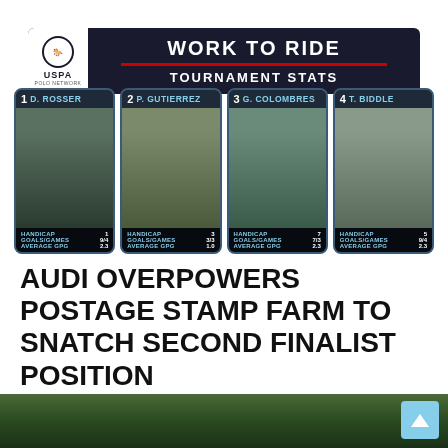[Figure (infographic): USPA Polo Network banner showing 'WORK TO RIDE - TOURNAMENT STATS' header with four player stat cards below: 1 D. ROSSER (HANDICAP 1, GOALS/GAMES 9/4, AVERAGE GPG 2.3), 2 P. GUTIERREZ (HANDICAP 3, GOALS/GAMES 3/3, AVERAGE GPG 1.0), 3 G. COLOMBRES (HANDICAP 7, GOALS/GAMES 7/3, AVERAGE GPG 2.3), 4 T. BIDDLE (HANDICAP 5, GOALS/GAMES 9/4, AVERAGE GPG 2.3)]
AUDI OVERPOWERS POSTAGE STAMP FARM TO SNATCH SECOND FINALIST POSITION
[Figure (photo): Outdoor polo scene with green foliage in background, bottom strip of page]